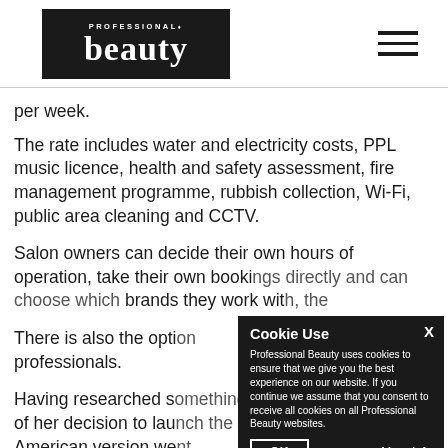Professional Beauty logo and navigation
per week.
The rate includes water and electricity costs, PPL music licence, health and safety assessment, fire management programme, rubbish collection, Wi-Fi, public area cleaning and CCTV.
Salon owners can decide their own hours of operation, take their own bookings directly and can choose which brands they work with, the
There is also the opti professionals.
Having researched s of her decision to lau American version we on what they loved day management issues like managing staff, paying bills or
[Figure (screenshot): Cookie consent modal dialog with dark background. Title: 'Cookie Use'. Body text: 'Professional Beauty uses cookies to ensure that we give you the best experience on our website. If you continue we assume that you consent to receive all cookies on all Professional Beauty websites.' Buttons: 'OK' (outlined) and 'More Info'. Close button 'X' at top right.]